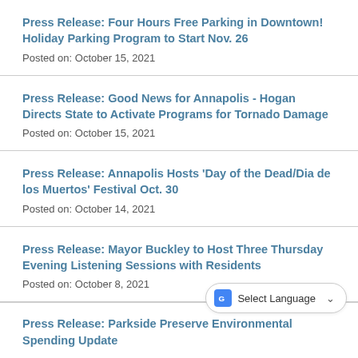Press Release: Four Hours Free Parking in Downtown! Holiday Parking Program to Start Nov. 26
Posted on: October 15, 2021
Press Release: Good News for Annapolis - Hogan Directs State to Activate Programs for Tornado Damage
Posted on: October 15, 2021
Press Release: Annapolis Hosts 'Day of the Dead/Dia de los Muertos' Festival Oct. 30
Posted on: October 14, 2021
Press Release: Mayor Buckley to Host Three Thursday Evening Listening Sessions with Residents
Posted on: October 8, 2021
Press Release: Parkside Preserve Environmental Spending Update